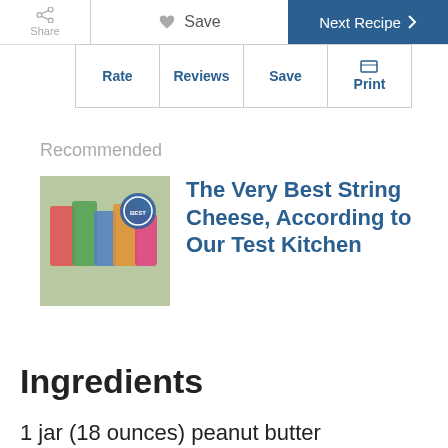Share | Save | Next Recipe
Rate | Reviews | Save | Print
Recommended
[Figure (photo): Packages of string cheese products arranged on a light background with a circular badge/seal visible]
The Very Best String Cheese, According to Our Test Kitchen
Ingredients
1 jar (18 ounces) peanut butter